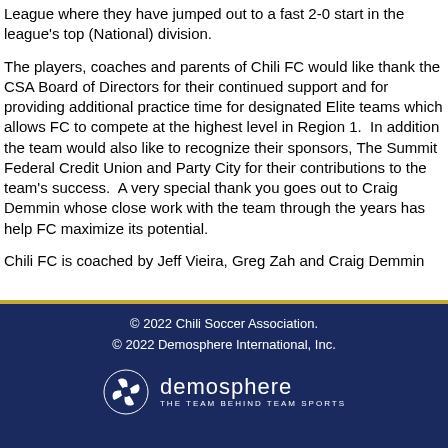League where they have jumped out to a fast 2-0 start in the league's top (National) division.
The players, coaches and parents of Chili FC would like thank the CSA Board of Directors for their continued support and for providing additional practice time for designated Elite teams which allows FC to compete at the highest level in Region 1.  In addition the team would also like to recognize their sponsors, The Summit Federal Credit Union and Party City for their contributions to the team's success.  A very special thank you goes out to Craig Demmin whose close work with the team through the years has help FC maximize its potential.
Chili FC is coached by Jeff Vieira, Greg Zah and Craig Demmin
© 2022 Chili Soccer Association.
© 2022 Demosphere International, Inc.